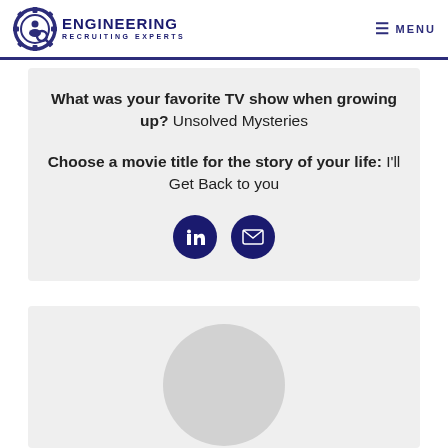Engineering Recruiting Experts — MENU
What was your favorite TV show when growing up? Unsolved Mysteries
Choose a movie title for the story of your life: I'll Get Back to you
[Figure (illustration): LinkedIn and email social icon buttons (dark navy circles with white icons)]
[Figure (photo): Circular avatar placeholder (grey circle) inside a light grey card]